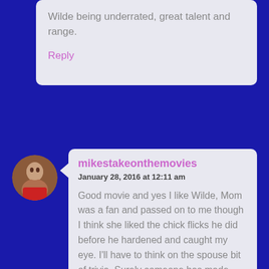Wilde being underrated, great talent and range.
Reply
[Figure (photo): Circular avatar photo of a person]
mikestakeonthemovies
January 28, 2016 at 12:11 am
Good movie and yes I like Wilde, Mom was a fan and passed on to me though I think she liked the chick flicks he did before he hardened and caught my eye. I'll have to think on the spouse bit of trivia. Surely someone has made flicks with more then one spouse. What about Jolie? Pitt